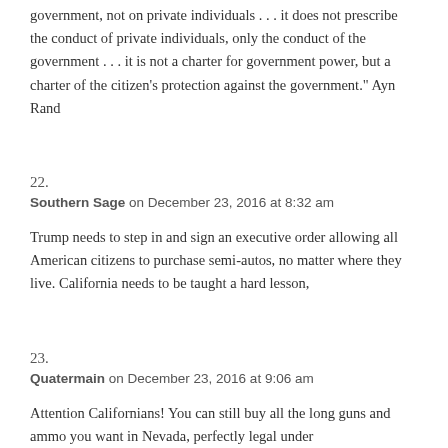government, not on private individuals . . . it does not prescribe the conduct of private individuals, only the conduct of the government . . . it is not a charter for government power, but a charter of the citizen's protection against the government." Ayn Rand
22.
Southern Sage on December 23, 2016 at 8:32 am
Trump needs to step in and sign an executive order allowing all American citizens to purchase semi-autos, no matter where they live. California needs to be taught a hard lesson,
23.
Quatermain on December 23, 2016 at 9:06 am
Attention Californians! You can still buy all the long guns and ammo you want in Nevada, perfectly legal under